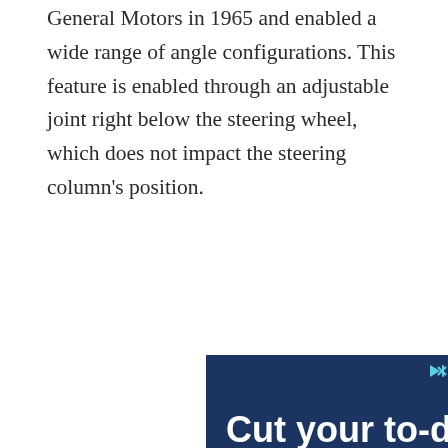General Motors in 1965 and enabled a wide range of angle configurations. This feature is enabled through an adjustable joint right below the steering wheel, which does not impact the steering column's position.
[Figure (other): Advertisement with dark navy blue background showing bold white text 'Cut your to-do list in half' with small play/close icon controls at top right, and partially visible logo/brand marks at the bottom edge.]